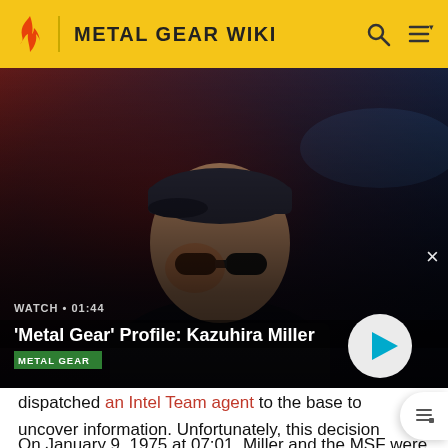METAL GEAR WIKI
[Figure (screenshot): Video thumbnail showing Kazuhira Miller wearing sunglasses and a cap in a dark scene with red lighting. Overlay shows 'WATCH • 01:44' and title "'Metal Gear' Profile: Kazuhira Miller" with a METAL GEAR tag and a play button. Close (×) button in top right.]
dispatched an Intel Team agent to the base to uncover information. Unfortunately, this decision ended up resulting in the agent's capture.[45]
On January 9, 1975 at 07:01, Miller and the MSF were hired